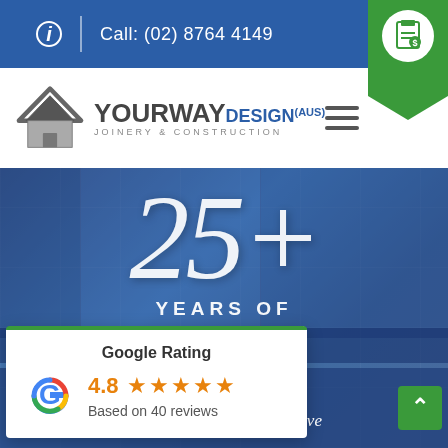Call: (02) 8764 4149
[Figure (logo): YourWay Design (AUS) Joinery & Construction logo with house icon]
[Figure (infographic): 25+ Years of Experience hero banner over kitchen background image]
[Figure (infographic): Google Rating 4.8 stars based on 40 reviews card with Google G logo]
Installation, so you can have
Google Rating 4.8 Based on 40 reviews